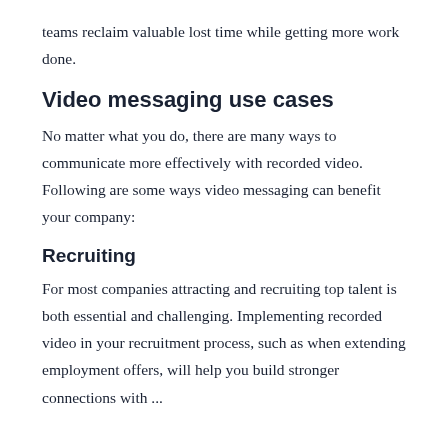teams reclaim valuable lost time while getting more work done.
Video messaging use cases
No matter what you do, there are many ways to communicate more effectively with recorded video. Following are some ways video messaging can benefit your company:
Recruiting
For most companies attracting and recruiting top talent is both essential and challenging. Implementing recorded video in your recruitment process, such as when extending employment offers, will help you build stronger connections with...